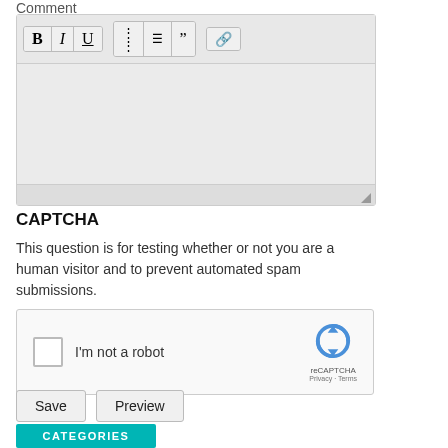Comment
[Figure (screenshot): Rich text editor toolbar with Bold, Italic, Underline, unordered list, ordered list, blockquote, and link buttons, followed by an empty editable content area with a resize handle.]
CAPTCHA
This question is for testing whether or not you are a human visitor and to prevent automated spam submissions.
[Figure (screenshot): reCAPTCHA widget with checkbox labeled 'I'm not a robot' and the reCAPTCHA logo with Privacy and Terms links.]
Save
Preview
CATEGORIES